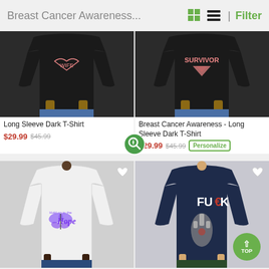Breast Cancer Awareness... | Filter
[Figure (photo): Black long sleeve dark t-shirt with pink ribbon wife graphic, person wearing it]
Long Sleeve Dark T-Shirt
$29.99  $45.99
[Figure (photo): Black long sleeve dark t-shirt with Survivor graphic in pink, person wearing it]
Breast Cancer Awareness - Long Sleeve Dark T-Shirt
$29.99  $45.99  Personalize
[Figure (photo): White long sleeve t-shirt with Hold on to the Hope butterfly graphic, person wearing it]
[Figure (photo): Navy long sleeve t-shirt with FU*K cancer graphic, person wearing it]